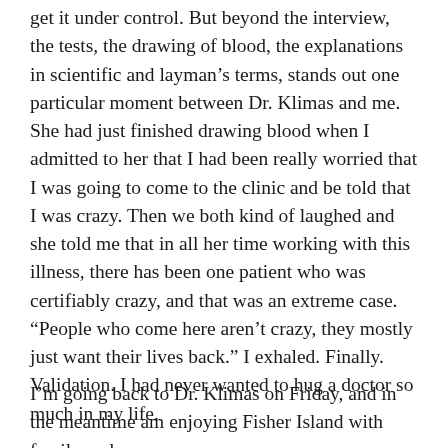get it under control. But beyond the interview, the tests, the drawing of blood, the explanations in scientific and layman's terms, stands out one particular moment between Dr. Klimas and me. She had just finished drawing blood when I admitted to her that I had been really worried that I was going to come to the clinic and be told that I was crazy. Then we both kind of laughed and she told me that in all her time working with this illness, there has been one patient who was certifiably crazy, and that was an extreme case. “People who come here aren’t crazy, they mostly just want their lives back.” I exhaled. Finally. Validation. I had never wanted to hug a doctor so much in my life.
I’m going back to Dr. Klimas on Friday, and in the meantime am enjoying Fisher Island with family and